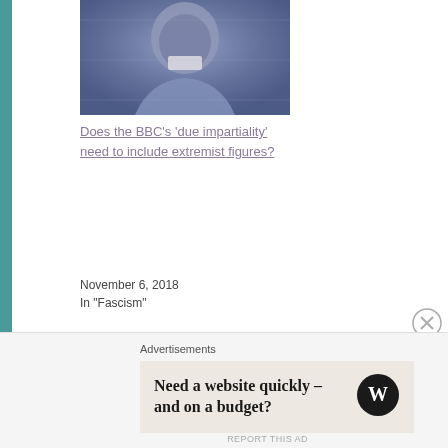[Figure (photo): Blurry/filtered photo of a man with tape or cloth over his mouth, blue-purple tinted]
Does the BBC's 'due impartiality' need to include extremist figures?
November 6, 2018
In "Fascism"
286 THOUGHTS ON “OPEN LETTER: THE BBC MUST STOP UNCRITICAL COVERAGE OF FASCISTS”
Advertisements
Need a website quickly – and on a budget?